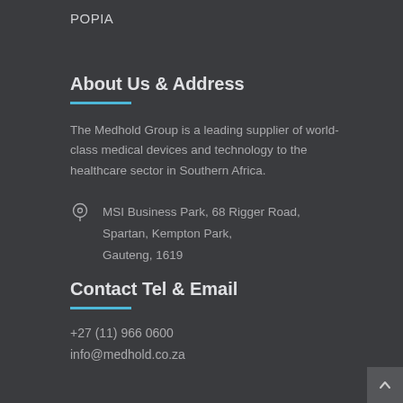POPIA
About Us & Address
The Medhold Group is a leading supplier of world-class medical devices and technology to the healthcare sector in Southern Africa.
MSI Business Park, 68 Rigger Road, Spartan, Kempton Park, Gauteng, 1619
Contact Tel & Email
+27 (11) 966 0600
info@medhold.co.za